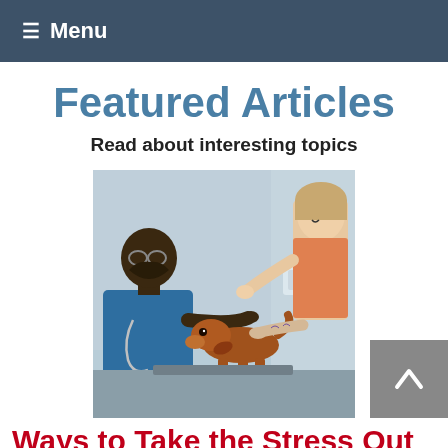≡ Menu
Featured Articles
Read about interesting topics
[Figure (photo): A veterinarian (Black man with glasses and stethoscope) examining a small brown dachshund dog on an exam table, with a smiling woman in the background in a veterinary clinic setting.]
Ways to Take the Stress Out of Your